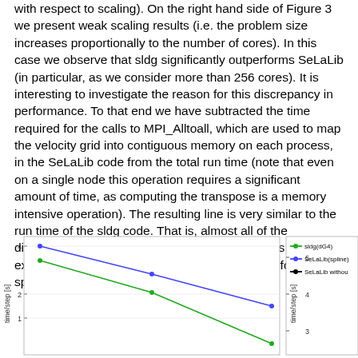with respect to scaling). On the right hand side of Figure 3 we present weak scaling results (i.e. the problem size increases proportionally to the number of cores). In this case we observe that sldg significantly outperforms SeLaLib (in particular, as we consider more than 256 cores). It is interesting to investigate the reason for this discrepancy in performance. To that end we have subtracted the time required for the calls to MPI_Alltoall, which are used to map the velocity grid into contiguous memory on each process, in the SeLaLib code from the total run time (note that even on a single node this operation requires a significant amount of time, as computing the transpose is a memory intensive operation). The resulting line is very similar to the run time of the sldg code. That is, almost all of the difference in performance between the two codes is explained by the global communication required for the spline interpolation.
[Figure (line-chart): Partial view of two line charts showing scaling results. Left chart shows lines for sldg(dG4) (green) and SeLaLib(spline) (blue) with y-axis labeled time/step [s] (values around 1-4) decreasing as cores increase. Right chart (partially visible) shows legend with sldg(dG4), SeLaLib(spline), SeLaLib withou... and y-axis values 3-5.]